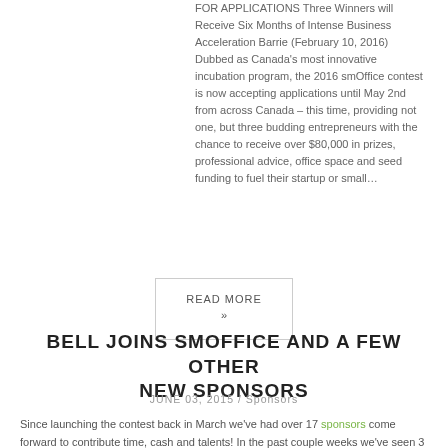FOR APPLICATIONS Three Winners will Receive Six Months of Intense Business Acceleration Barrie (February 10, 2016) Dubbed as Canada's most innovative incubation program, the 2016 smOffice contest is now accepting applications until May 2nd from across Canada – this time, providing not one, but three budding entrepreneurs with the chance to receive over $80,000 in prizes, professional advice, office space and seed funding to fuel their startup or small…
READ MORE »
BELL JOINS SMOFFICE AND A FEW OTHER NEW SPONSORS
JUNE 03, 2015 / Sponsors
Since launching the contest back in March we've had over 17 sponsors come forward to contribute time, cash and talents! In the past couple weeks we've seen 3 more join in! A special thanks to: Arkady from TIFT for offering up 2 season tickets to